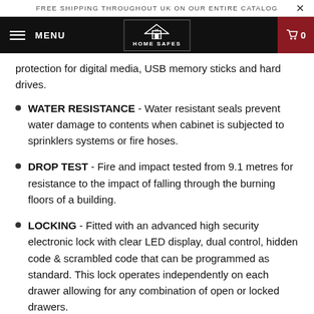FREE SHIPPING THROUGHOUT UK ON OUR ENTIRE CATALOG
MENU | HOME SAFES | 0
protection for digital media, USB memory sticks and hard drives.
WATER RESISTANCE - Water resistant seals prevent water damage to contents when cabinet is subjected to sprinklers systems or fire hoses.
DROP TEST - Fire and impact tested from 9.1 metres for resistance to the impact of falling through the burning floors of a building.
LOCKING - Fitted with an advanced high security electronic lock with clear LED display, dual control, hidden code & scrambled code that can be programmed as standard. This lock operates independently on each drawer allowing for any combination of open or locked drawers.
CAPACITY - Able to accommodate Foolscap, A4 and A5 files on width adjustable rails. Compression plates are also